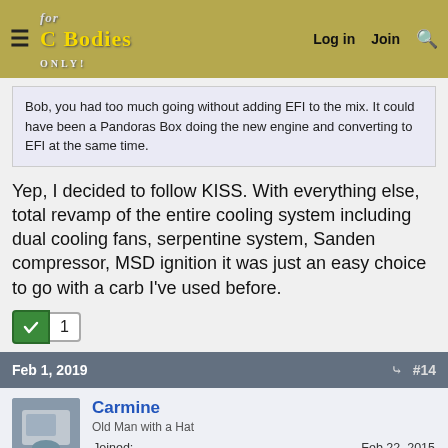For C Bodies Only · Log in Join Search
Bob, you had too much going without adding EFI to the mix. It could have been a Pandoras Box doing the new engine and converting to EFI at the same time.
Yep, I decided to follow KISS. With everything else, total revamp of the entire cooling system including dual cooling fans, serpentine system, Sanden compressor, MSD ignition it was just an easy choice to go with a carb I've used before.
Feb 1, 2019  #14
Carmine
Old Man with a Hat
Joined: Feb 22, 2015
Messages: 5,527
Reaction score: 8,481
Location: Detroit 'burbs